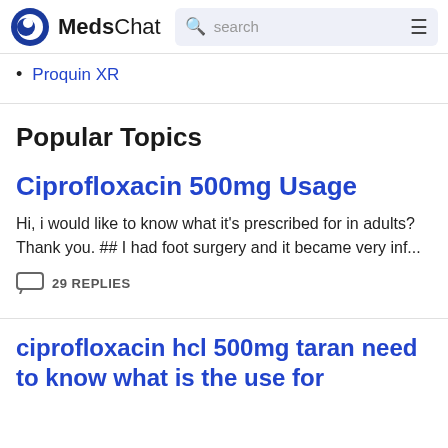MedsChat  search
Proquin XR
Popular Topics
Ciprofloxacin 500mg Usage
Hi, i would like to know what it's prescribed for in adults? Thank you. ## I had foot surgery and it became very inf...
29 REPLIES
ciprofloxacin hcl 500mg taran need to know what is the use for